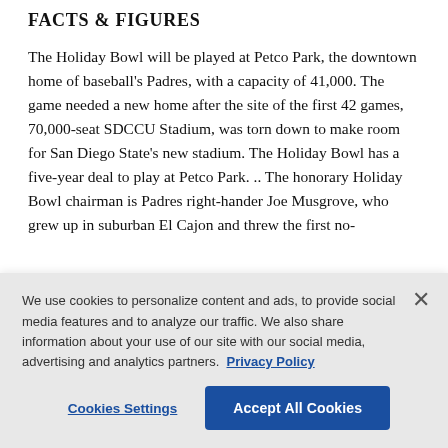FACTS & FIGURES
The Holiday Bowl will be played at Petco Park, the downtown home of baseball's Padres, with a capacity of 41,000. The game needed a new home after the site of the first 42 games, 70,000-seat SDCCU Stadium, was torn down to make room for San Diego State's new stadium. The Holiday Bowl has a five-year deal to play at Petco Park. .. The honorary Holiday Bowl chairman is Padres right-hander Joe Musgrove, who grew up in suburban El Cajon and threw the first no-
We use cookies to personalize content and ads, to provide social media features and to analyze our traffic. We also share information about your use of our site with our social media, advertising and analytics partners. Privacy Policy